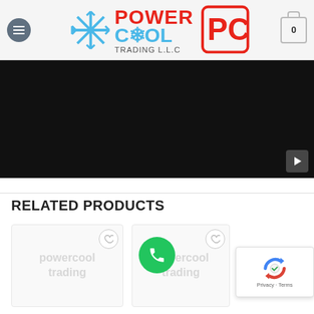Power Cool Trading L.L.C — navigation header with logo and cart
[Figure (screenshot): Dark video embed area with YouTube play button in bottom-right corner]
RELATED PRODUCTS
[Figure (screenshot): Product card with heart/wishlist icon and watermark text]
[Figure (screenshot): Partial product card with heart/wishlist icon, partially obscured by reCAPTCHA overlay]
[Figure (other): Green phone/call floating action button]
[Figure (other): reCAPTCHA verification widget with Privacy and Terms links]